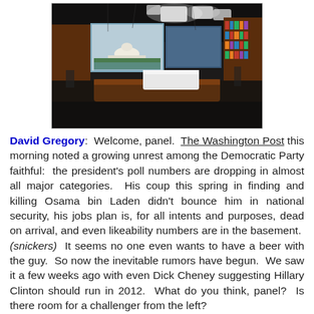[Figure (photo): Interior of a TV news studio with dark ceiling, studio lights, a curved anchor desk, bookshelves on the walls, and large display screens showing the U.S. Capitol building.]
David Gregory:  Welcome, panel.  The Washington Post this morning noted a growing unrest among the Democratic Party faithful:  the president's poll numbers are dropping in almost all major categories.  His coup this spring in finding and killing Osama bin Laden didn't bounce him in national security, his jobs plan is, for all intents and purposes, dead on arrival, and even likeability numbers are in the basement.  (snickers)  It seems no one even wants to have a beer with the guy.  So now the inevitable rumors have begun.  We saw it a few weeks ago with even Dick Cheney suggesting Hillary Clinton should run in 2012.  What do you think, panel?  Is there room for a challenger from the left?